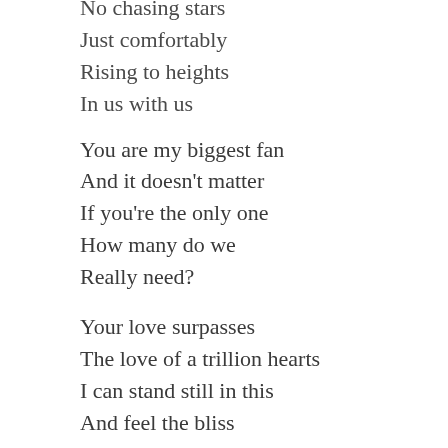No chasing stars
Just comfortably
Rising to heights
In us with us
You are my biggest fan
And it doesn't matter
If you're the only one
How many do we
Really need?
Your love surpasses
The love of a trillion hearts
I can stand still in this
And feel the bliss
All around me
Unconditional
On the other end of the line
Ho... th...